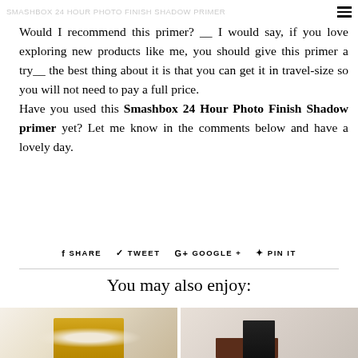Smashbox 24 Hour Photo Finish Shadow Primer
Would I recommend this primer? __ I would say, if you love exploring new products like me, you should give this primer a try__ the best thing about it is that you can get it in travel-size so you will not need to pay a full price. Have you used this Smashbox 24 Hour Photo Finish Shadow primer yet? Let me know in the comments below and have a lovely day.
f SHARE  TWEET  G+ GOOGLE +  PIN IT
You may also enjoy:
[Figure (photo): Photo of a cosmetic product bottle with gold cap, likely a primer or foundation]
[Figure (photo): Photo of cosmetic products including a dark bottle with pump and other beauty products]